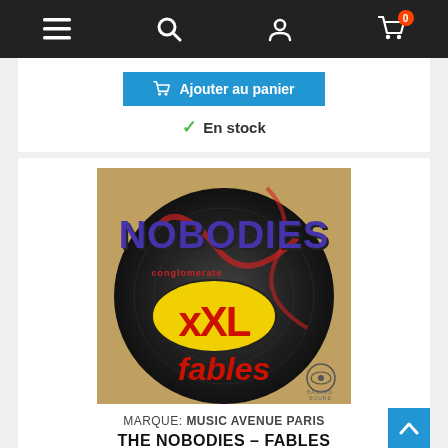Navigation bar with menu, search, account, and cart (0 items)
Ajouter au panier
✓ En stock
[Figure (photo): Album cover for The Nobodies - Fables (XXL Conglomerate). Features bold purple 'NOBODIES' text at the top, a large yellow oval with red 'xXL' text in the center, 'fables' in red script at the bottom, and 'BACK 2D SOURE' logo in the bottom right corner.]
MARQUE: MUSIC AVENUE PARIS
THE NOBODIES – FABLES